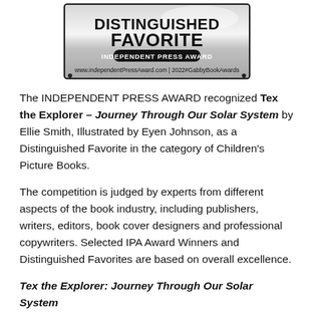[Figure (logo): Distinguished Favorite Independent Press Award badge with text: DISTINGUISHED FAVORITE, INDEPENDENT PRESS AWARD, www.independentPressAward.com | 2022#GabbyBookAwards]
The INDEPENDENT PRESS AWARD recognized Tex the Explorer – Journey Through Our Solar System by Ellie Smith, Illustrated by Eyen Johnson, as a Distinguished Favorite in the category of Children's Picture Books.
The competition is judged by experts from different aspects of the book industry, including publishers, writers, editors, book cover designers and professional copywriters. Selected IPA Award Winners and Distinguished Favorites are based on overall excellence.
Tex the Explorer: Journey Through Our Solar System continues the journey of Tex the Explorer. Tex is a young T-Rex. He loves to explore. For his birthday his parents